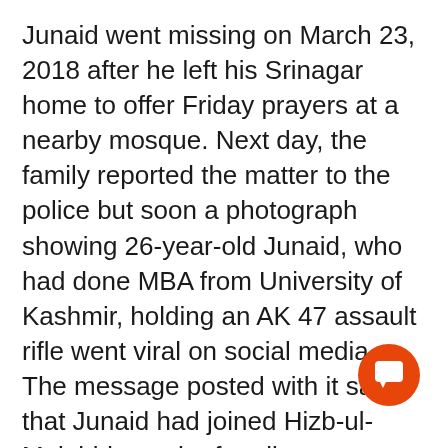Junaid went missing on March 23, 2018 after he left his Srinagar home to offer Friday prayers at a nearby mosque. Next day, the family reported the matter to the police but soon a photograph showing 26-year-old Junaid, who had done MBA from University of Kashmir, holding an AK 47 assault rifle went viral on social media. The message posted with it said that Junaid had joined Hizb-ul-Mujahideen, the frontline indigenous militant group.
The fighting broke out overnight after the security forces laid siege to Dana Maz on receiving intelligence input about th
[Figure (other): Orange circular chat/comment button with white speech bubble icon in bottom right corner]